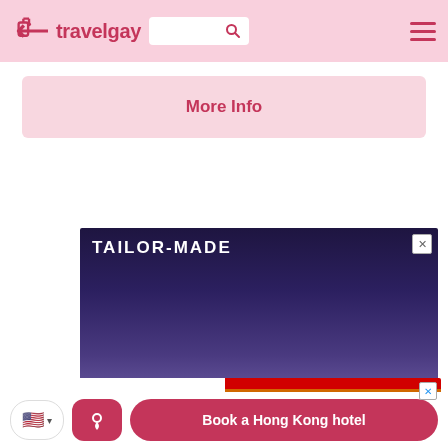travelgay
More Info
[Figure (screenshot): Advertisement banner with dark purple/navy gradient background and text 'TAILOR-MADE' in white bold letters at top left, with a close (X) button at top right]
[Figure (screenshot): Advertisement banner for 'OUT OF OFFICE SYDNEY - Destination NSW' showing people at a Pride event with rainbow flag in background, close (X) button at top right]
Book a Hong Kong hotel